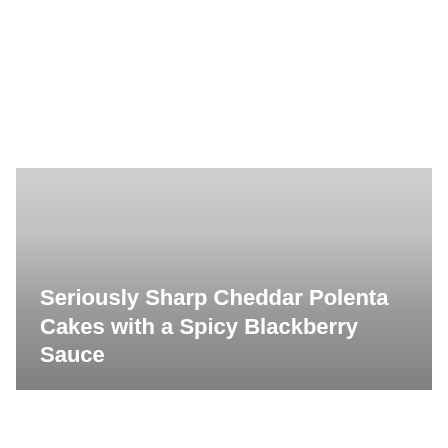[Figure (photo): A food photograph showing a gradient from light gray/white at the top to dark gray at the bottom, with a title overlay text at the bottom.]
Seriously Sharp Cheddar Polenta Cakes with a Spicy Blackberry Sauce